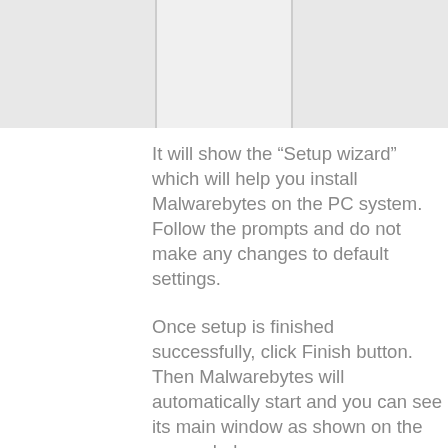[Figure (screenshot): Partial screenshot of a software installation wizard dialog, shown as a light gray placeholder area divided into three columns.]
It will show the “Setup wizard” which will help you install Malwarebytes on the PC system. Follow the prompts and do not make any changes to default settings.
Once setup is finished successfully, click Finish button. Then Malwarebytes will automatically start and you can see its main window as shown on the screen below.